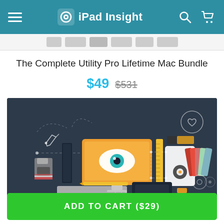iPad Insight
The Complete Utility Pro Lifetime Mac Bundle
$49  $531
[Figure (illustration): Flat design illustration of a graphic design/creative workspace with a monitor displaying an eye graphic, keyboard, floppy disk, pen tool, color swatches, ruler, and various design tools on a dark navy background. A circular heart icon appears in the upper right.]
ADD TO CART ($29)